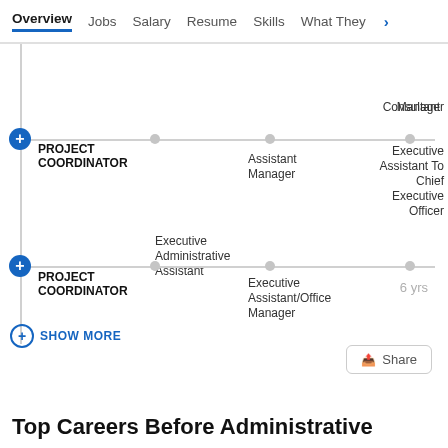Overview  Jobs  Salary  Resume  Skills  What They >
[Figure (organizational-chart): Career path diagram showing two Project Coordinator paths with timeline lines and job nodes. First path: Consultant → Assistant Manager → Executive Assistant To Chief Executive Officer, with Executive Administrative Assistant as alternate. Second path: Executive Assistant/Office Manager (6 yrs). Vertical connector with SHOW MORE at bottom.]
SHOW MORE
Share
Top Careers Before Administrative